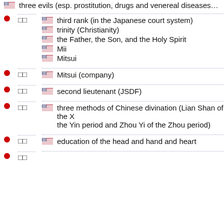three evils (esp. prostitution, drugs and venereal diseases…
□□ — third rank (in the Japanese court system), trinity (Christianity), the Father, the Son, and the Holy Spirit, Mii, Mitsui
□□ — Mitsui (company)
□□ — second lieutenant (JSDF)
□□ — three methods of Chinese divination (Lian Shan of the X the Yin period and Zhou Yi of the Zhou period)
□□ — education of the head and hand and heart
□□